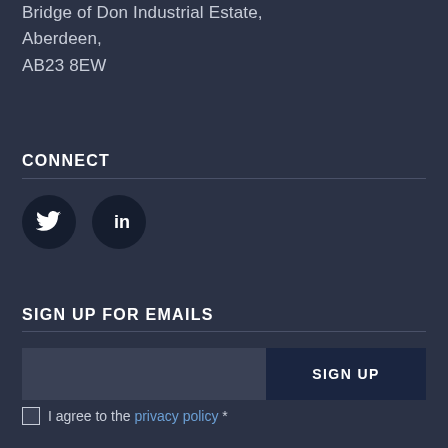Bridge of Don Industrial Estate,
Aberdeen,
AB23 8EW
CONNECT
[Figure (illustration): Twitter bird icon in dark circle and LinkedIn 'in' icon in dark circle]
SIGN UP FOR EMAILS
I agree to the privacy policy *